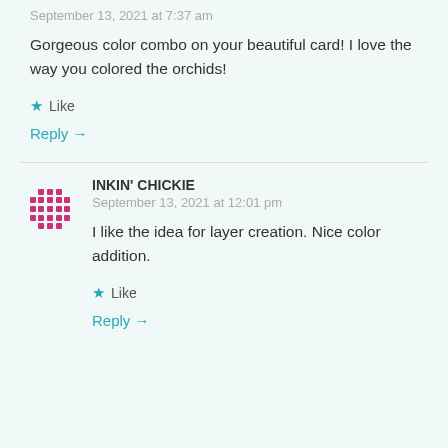September 13, 2021 at 7:37 am
Gorgeous color combo on your beautiful card! I love the way you colored the orchids!
★ Like
Reply →
INKIN' CHICKIE
September 13, 2021 at 12:01 pm
I like the idea for layer creation. Nice color addition.
★ Like
Reply →